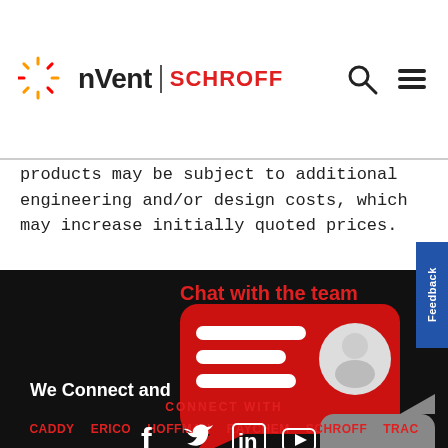[Figure (logo): nVent SCHROFF logo with sunburst icon]
products may be subject to additional engineering and/or design costs, which may increase initially quoted prices.
[Figure (infographic): Chat with the team widget showing red speech bubble with person avatar and gray reply bubble, with text 'We Connect and...' Brand links: CADDY, ERICO, HOFFMAN, RAYCHEM, SCHROFF, TRAC... CONNECT WITH social media icons: Facebook, Twitter, LinkedIn, YouTube]